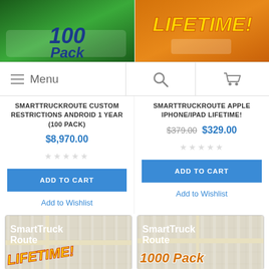[Figure (screenshot): Top-left product image showing '100 Pack' text on green background with truck graphics]
[Figure (screenshot): Top-right product image showing 'LIFETIME!' text in yellow on orange background]
[Figure (screenshot): Navigation bar with hamburger menu, search icon, and cart icon]
SMARTTRUCKROUTE CUSTOM RESTRICTIONS ANDROID 1 YEAR (100 PACK)
$8,970.00
ADD TO CART
Add to Wishlist
SMARTTRUCKROUTE APPLE IPHONE/IPAD LIFETIME!
$379.00  $329.00
ADD TO CART
Add to Wishlist
[Figure (screenshot): Bottom-left SmartTruck Route LIFETIME! product image on map background]
[Figure (screenshot): Bottom-right SmartTruck Route 1000 Pack product image on map background]